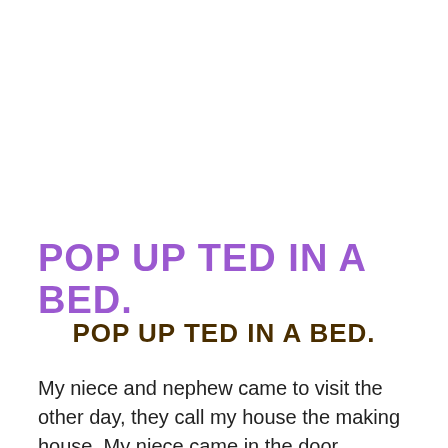POP UP TED IN A BED.
POP UP TED IN A BED.
My niece and nephew came to visit the other day, they call my house the making house. My niece came in the door dragging this massive teddy bear behind her and asked if we could make a picture or something of her bear. However, my nephew just wanted some paper plates to make a craft that